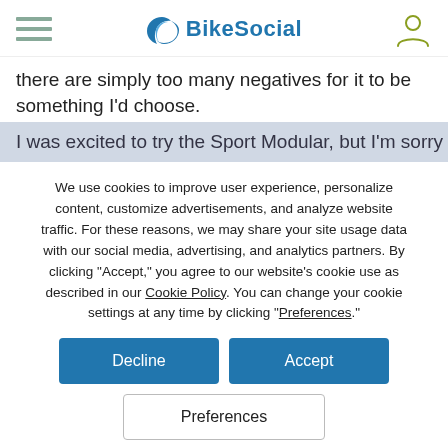BikeSocial
there are simply too many negatives for it to be something I'd choose.
I was excited to try the Sport Modular, but I'm sorry to say
We use cookies to improve user experience, personalize content, customize advertisements, and analyze website traffic. For these reasons, we may share your site usage data with our social media, advertising, and analytics partners. By clicking "Accept," you agree to our website's cookie use as described in our Cookie Policy. You can change your cookie settings at any time by clicking “Preferences.”
Decline
Accept
Preferences